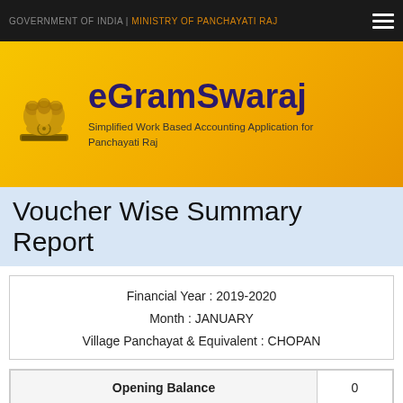GOVERNMENT OF INDIA | MINISTRY OF PANCHAYATI RAJ
[Figure (logo): eGramSwaraj logo with Ashoka Emblem and app name and subtitle]
Voucher Wise Summary Report
Financial Year : 2019-2020
Month : JANUARY
Village Panchayat & Equivalent : CHOPAN
| Opening Balance | 0 |
| --- | --- |
| Receipts |  |